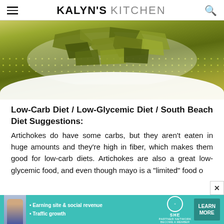KALYN'S KITCHEN
[Figure (photo): Bowl of cooked artichoke leaves on a green dotted surface, viewed from above]
Low-Carb Diet / Low-Glycemic Diet / South Beach Diet Suggestions:
Artichokes do have some carbs, but they aren't eaten in huge amounts and they're high in fiber, which makes them good for low-carb diets. Artichokes are also a great low-glycemic food, and even though mayo is a "limited" food o
[Figure (infographic): SHE Partner Network advertisement banner with a woman photo, bullet points about earning site & social revenue and traffic growth, SHE logo, and a LEARN MORE button]